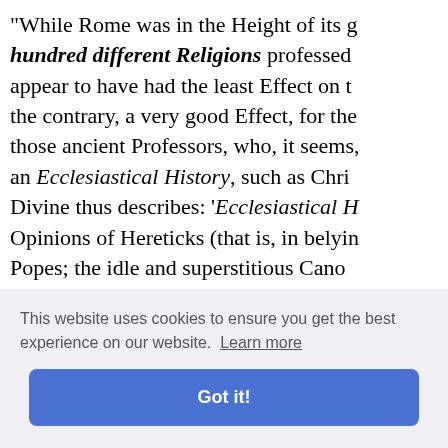"While Rome was in the Height of its g... hundred different Religions professed ... appear to have had the least Effect on th... the contrary, a very good Effect, for the... those ancient Professors, who, it seems,... an Ecclesiastical History, such as Chri... Divine thus describes: 'Ecclesiastical H... Opinions of Hereticks (that is, in belyin... Popes; the idle and superstitious Canon... Councils; their Debates about frivolo... Consultations of Synods about augmen... Pride and Grandure; the impostures of... Church; the Tyranny, Cruelty, and Impi... ical histo... d dwelt a... all be ca... 'estament...
This website uses cookies to ensure you get the best experience on our website. Learn more
Got it!